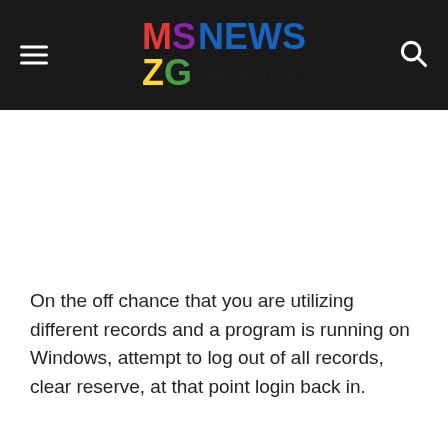MSZG NEWS — Latest World's News
On the off chance that you are utilizing different records and a program is running on Windows, attempt to log out of all records, clear reserve, at that point login back in.